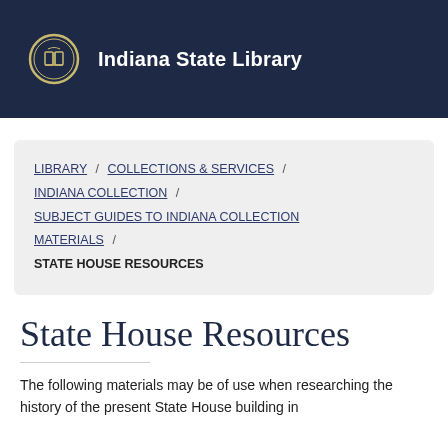Indiana State Library
LIBRARY / COLLECTIONS & SERVICES / INDIANA COLLECTION / SUBJECT GUIDES TO INDIANA COLLECTION MATERIALS / STATE HOUSE RESOURCES
State House Resources
The following materials may be of use when researching the history of the present State House building in